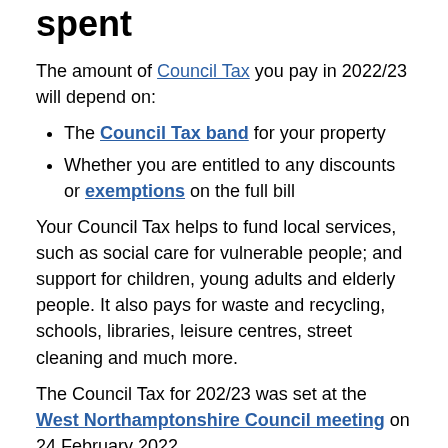How your Council Tax is spent
The amount of Council Tax you pay in 2022/23 will depend on:
The Council Tax band for your property
Whether you are entitled to any discounts or exemptions on the full bill
Your Council Tax helps to fund local services, such as social care for vulnerable people; and support for children, young adults and elderly people. It also pays for waste and recycling, schools, libraries, leisure centres, street cleaning and much more.
The Council Tax for 202/23 was set at the West Northamptonshire Council meeting on 24 February 2022.
Different parts of the Council Tax demand